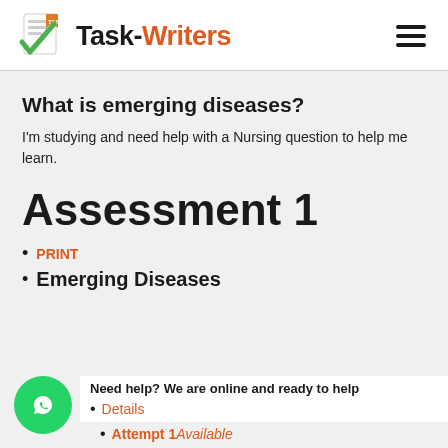Task-Writers
What is emerging diseases?
I'm studying and need help with a Nursing question to help me learn.
Assessment 1
PRINT
Emerging Diseases
Need help? We are online and ready to help
Details
Attempt 1 Available